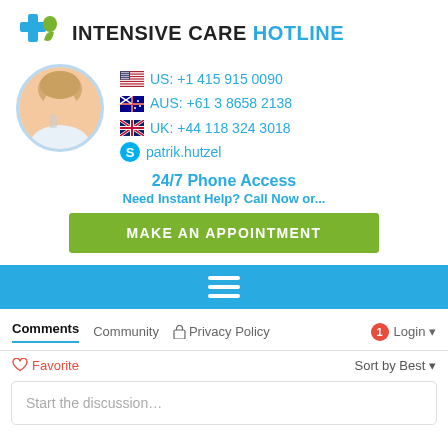[Figure (logo): Intensive Care Hotline logo with blue and green cross/person icon and text 'INTENSIVE CARE HOTLINE']
[Figure (photo): Circular photo of a smiling woman on the phone, representing a hotline operator]
🇺🇸 US: +1 415 915 0090
🇦🇺 AUS: +61 3 8658 2138
🇬🇧 UK: +44 118 324 3018
(S) patrik.hutzel
24/7 Phone Access
Need Instant Help? Call Now or...
MAKE AN APPOINTMENT
[Figure (infographic): Teal/cyan navigation bar with white hamburger menu icon]
Comments	Community	🔒 Privacy Policy	1 Login
♡ Favorite	Sort by Best ▼
Start the discussion...